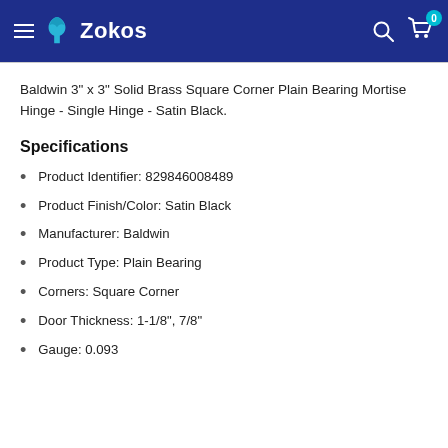Zokos
Baldwin 3" x 3" Solid Brass Square Corner Plain Bearing Mortise Hinge - Single Hinge - Satin Black.
Specifications
Product Identifier: 829846008489
Product Finish/Color: Satin Black
Manufacturer: Baldwin
Product Type: Plain Bearing
Corners: Square Corner
Door Thickness: 1-1/8", 7/8"
Gauge: 0.093